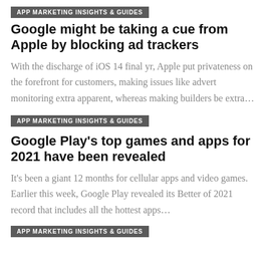APP MARKETING INSIGHTS & GUIDES
Google might be taking a cue from Apple by blocking ad trackers
With the discharge of iOS 14 final yr, Apple put privateness on the forefront for customers, making issues like advert monitoring extra apparent, whereas making builders be extra…
APP MARKETING INSIGHTS & GUIDES
Google Play's top games and apps for 2021 have been revealed
It's been a giant 12 months for cellular apps and video games. Earlier this week, Google Play revealed its Better of 2021 record that includes all the hottest apps…
APP MARKETING INSIGHTS & GUIDES